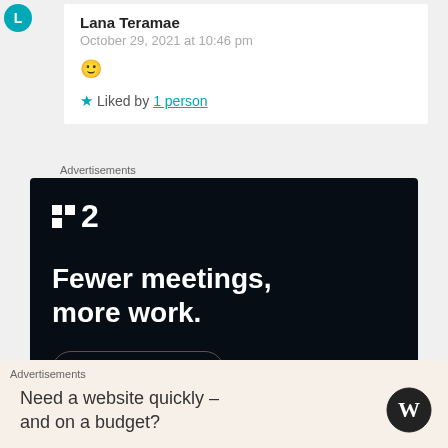Lana Teramae
October 29, 2021 at 10:46 pm
🙂
★ Liked by 1 person
Advertisements
[Figure (other): Dark advertisement banner for a project management tool. Shows a logo with dot-grid and '2', headline text 'Fewer meetings, more work.' and a 'Get started for free' button.]
Advertisements
Need a website quickly – and on a budget?